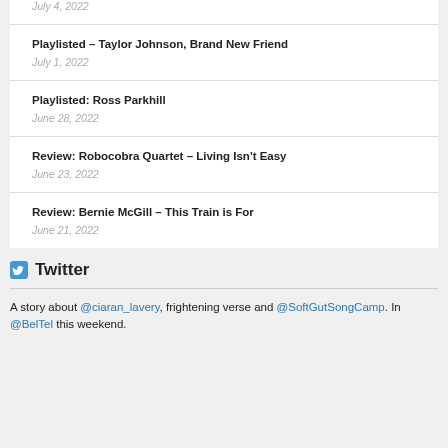July 4, 2022
Playlisted – Taylor Johnson, Brand New Friend
July 1, 2022
Playlisted: Ross Parkhill
June 28, 2022
Review: Robocobra Quartet – Living Isn't Easy
June 23, 2022
Review: Bernie McGill – This Train is For
June 21, 2022
Twitter
A story about @ciaran_lavery, frightening verse and @SoftGutSongCamp. In @BelTel this weekend.